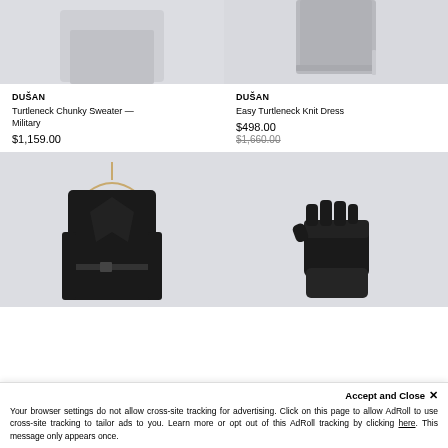[Figure (photo): Top portion of a light gray knit sweater/dress on white-gray background]
[Figure (photo): Gray turtleneck knit dress hanging, showing bottom hem area on light gray background]
DUŠAN
Turtleneck Chunky Sweater — Military
$1,159.00
DUŠAN
Easy Turtleneck Knit Dress
$498.00
$1,660.00
[Figure (photo): Black wool coat on hanger with belt, on light gray background]
[Figure (photo): Black knit gloves/mittens on light gray background]
Accept and Close ✕
Your browser settings do not allow cross-site tracking for advertising. Click on this page to allow AdRoll to use cross-site tracking to tailor ads to you. Learn more or opt out of this AdRoll tracking by clicking here. This message only appears once.